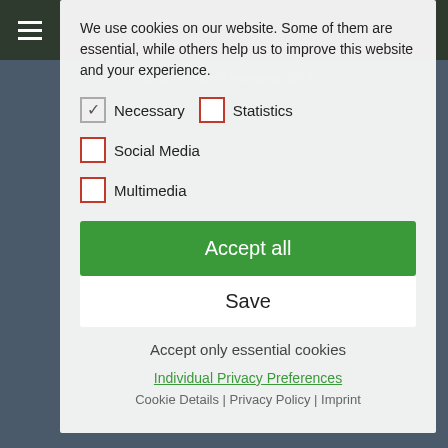[Figure (screenshot): Background webpage with dark header, navigation menu icon, and page title 'Mix of the Month November 2018 — compiled by David Dorad' with subtitle credits visible behind cookie consent modal]
We use cookies on our website. Some of them are essential, while others help us to improve this website and your experience.
Necessary (checked), Statistics (unchecked), Social Media (unchecked)
Multimedia (unchecked)
Accept all
Save
Accept only essential cookies
Individual Privacy Preferences
Cookie Details | Privacy Policy | Imprint